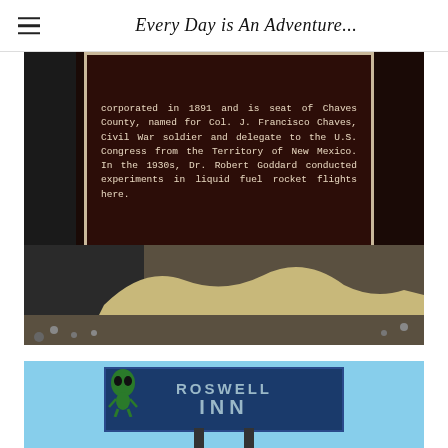Every Day is An Adventure...
[Figure (photo): A historic marker plaque mounted on a dark post, reading about incorporation in 1891 and Chaves County, named for Col. J. Francisco Chaves, Civil War soldier and delegate to the U.S. Congress from the Territory of New Mexico. In the 1930s, Dr. Robert Goddard conducted experiments in liquid fuel rocket flights here. Gravel and rocks visible at the base.]
[Figure (photo): A sign for Roswell Inn with an alien figure graphic, set against a blue sky background. The sign shows the text partially cut off at top reading ROSWELL INN in large letters on a dark blue background.]